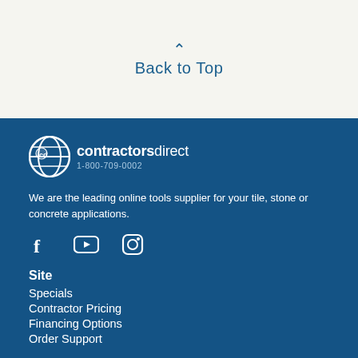Back to Top
[Figure (logo): ContractorsDirect logo with globe icon and phone number 1-800-709-0002]
We are the leading online tools supplier for your tile, stone or concrete applications.
[Figure (infographic): Social media icons: Facebook, YouTube, Instagram]
Site
Specials
Contractor Pricing
Financing Options
Order Support